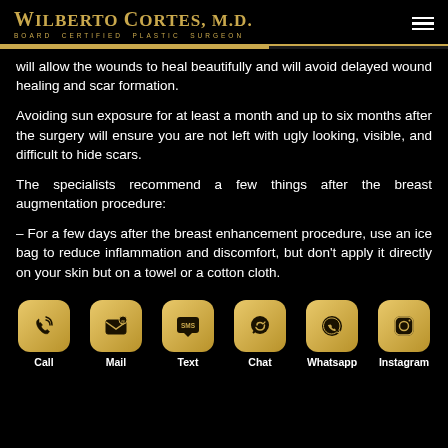WILBERTO CORTES, M.D. BOARD CERTIFIED PLASTIC SURGEON
will allow the wounds to heal beautifully and will avoid delayed wound healing and scar formation.
Avoiding sun exposure for at least a month and up to six months after the surgery will ensure you are not left with ugly looking, visible, and difficult to hide scars.
The specialists recommend a few things after the breast augmentation procedure:
– For a few days after the breast enhancement procedure, use an ice bag to reduce inflammation and discomfort, but don't apply it directly on your skin but on a towel or a cotton cloth.
[Figure (infographic): Six gold social media contact icons with labels: Call, Mail, Text, Chat, Whatsapp, Instagram]